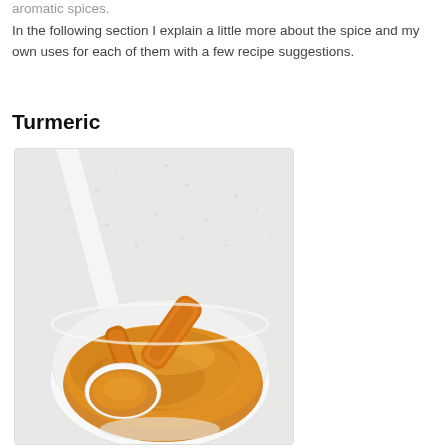aromatic spices.
In the following section I explain a little more about the spice and my own uses for each of them with a few recipe suggestions.
Turmeric
[Figure (photo): A white bowl filled with golden-orange turmeric powder, with a white spoon resting in it and dried turmeric root pieces visible, on a white textured background.]